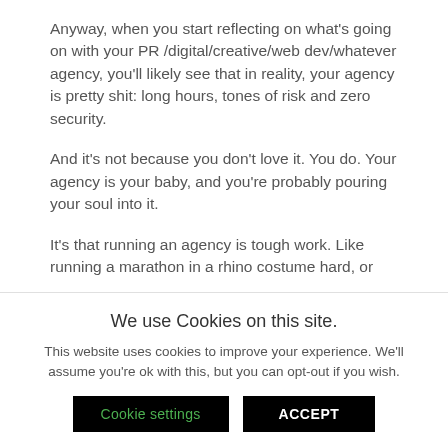Anyway, when you start reflecting on what's going on with your PR /digital/creative/web dev/whatever agency, you'll likely see that in reality, your agency is pretty shit: long hours, tones of risk and zero security.
And it's not because you don't love it. You do. Your agency is your baby, and you're probably pouring your soul into it.
It's that running an agency is tough work. Like running a marathon in a rhino costume hard, or
We use Cookies on this site.
This website uses cookies to improve your experience. We'll assume you're ok with this, but you can opt-out if you wish.
Cookie settings   ACCEPT